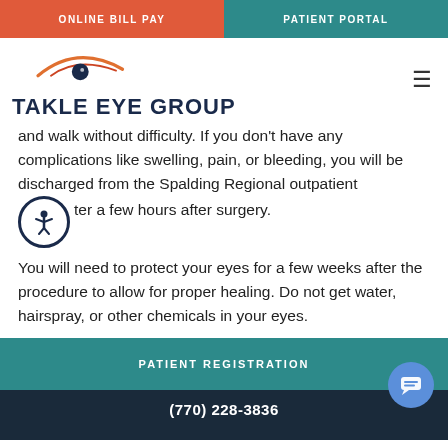ONLINE BILL PAY | PATIENT PORTAL
[Figure (logo): Takle Eye Group logo with stylized eye graphic above the text 'TAKLE EYE GROUP']
and walk without difficulty. If you don't have any complications like swelling, pain, or bleeding, you will be discharged from the Spalding Regional outpatient ter a few hours after surgery.
You will need to protect your eyes for a few weeks after the procedure to allow for proper healing. Do not get water, hairspray, or other chemicals in your eyes.
PATIENT REGISTRATION
(770) 228-3836